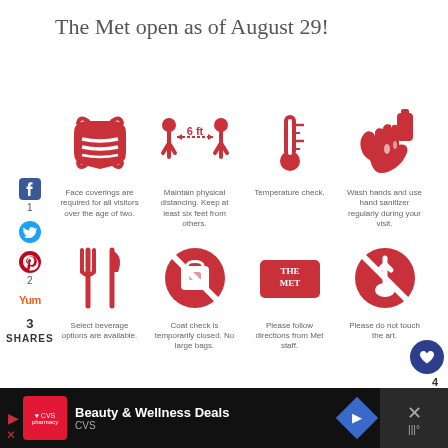The Met open as of August 29!
[Figure (infographic): 8 COVID safety icons: face covering, 6ft distancing, temperature check, hand sanitizer, beverage options, no large bags/coat check closed, follow staff directions, do not touch art]
Face coverings are required for all visitors over the age of two.
Maintain physical distancing. Keep at least six feet from others.
Temperature check.
Wash hands and use hand sanitizer regularly during your visit.
Select beverage options are available.
Coat check is temporarily closed. No large bags.
Please follow directions from Met staff.
Please do not touch the art.
[Figure (infographic): CVS Beauty & Wellness Deals advertisement banner at bottom]